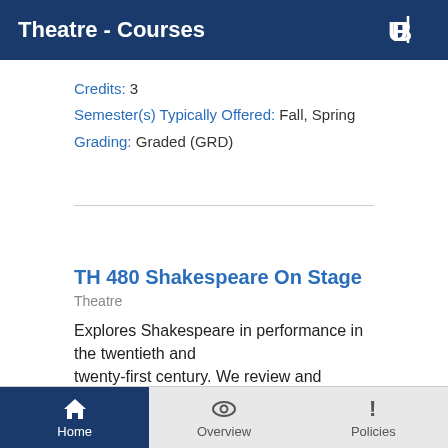Theatre - Courses
Credits: 3
Semester(s) Typically Offered: Fall, Spring
Grading: Graded (GRD)
TH 480 Shakespeare On Stage
Theatre
Explores Shakespeare in performance in the twentieth and twenty-first century. We review and analyze film and video of
Home  Overview  Policies